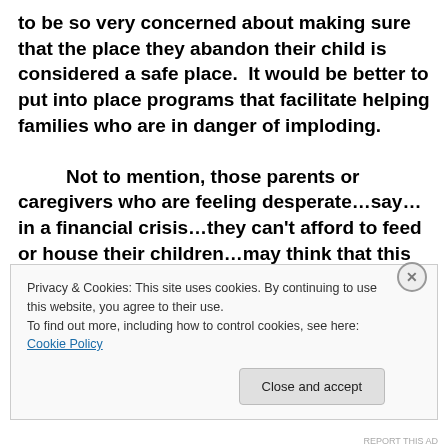to be so very concerned about making sure that the place they abandon their child is considered a safe place.  It would be better to put into place programs that facilitate helping families who are in danger of imploding.

        Not to mention, those parents or caregivers who are feeling desperate…say…in a financial crisis…they can't afford to feed or house their children…may think that this safe haven is an option for them.  The consequences of such an action could be considered
Privacy & Cookies: This site uses cookies. By continuing to use this website, you agree to their use.
To find out more, including how to control cookies, see here: Cookie Policy